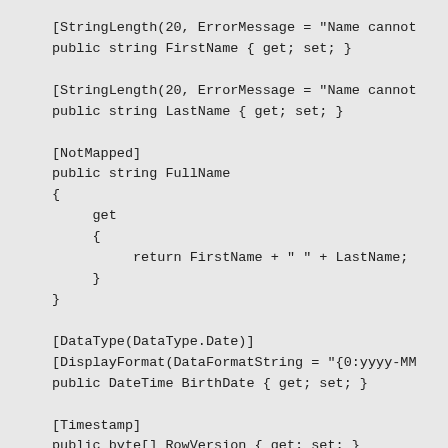[StringLength(20, ErrorMessage = "Name cannot
public string FirstName { get; set; }

[StringLength(20, ErrorMessage = "Name cannot
public string LastName { get; set; }

[NotMapped]
public string FullName
{
    get
    {
        return FirstName + " " + LastName;
    }
}

[DataType(DataType.Date)]
[DisplayFormat(DataFormatString = "{0:yyyy-MM
public DateTime BirthDate { get; set; }

[Timestamp]
public byte[] RowVersion { get; set; }